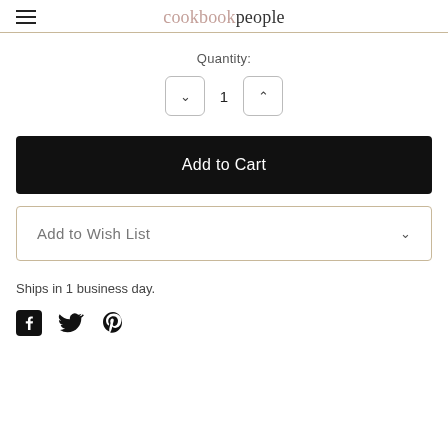cookbook people
Quantity:
1
Add to Cart
Add to Wish List
Ships in 1 business day.
[Figure (other): Social media icons: Facebook, Twitter, Pinterest]